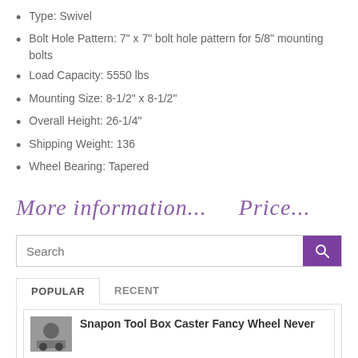Type: Swivel
Bolt Hole Pattern: 7" x 7" bolt hole pattern for 5/8" mounting bolts
Load Capacity: 5550 lbs
Mounting Size: 8-1/2" x 8-1/2"
Overall Height: 26-1/4"
Shipping Weight: 136
Wheel Bearing: Tapered
More information...    Price...
Search
POPULAR   RECENT
Snapon Tool Box Caster Fancy Wheel Never